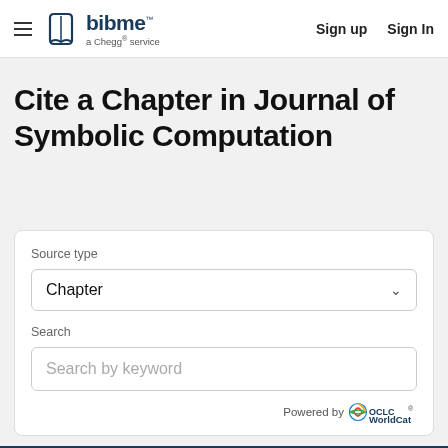BibMe — a Chegg® service | Sign up | Sign In
Cite a Chapter in Journal of Symbolic Computation
Source type
Chapter
Search
Search by keyword
Powered by WorldCat